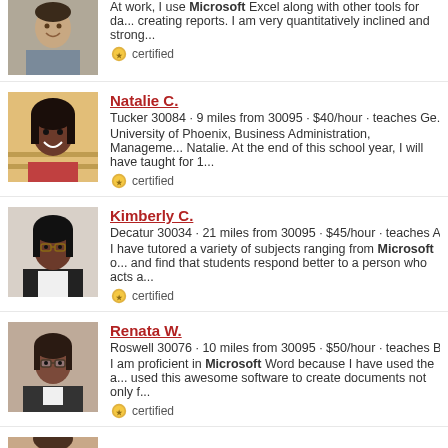[Figure (photo): Profile photo of first tutor (male, checkered shirt)]
At work, I use Microsoft Excel along with other tools for da... creating reports. I am very quantitatively inclined and strong...
certified
[Figure (photo): Profile photo of Natalie C. (woman smiling)]
Natalie C.
Tucker 30084 · 9 miles from 30095 · $40/hour · teaches Ge... University of Phoenix, Business Administration, Manageme... Natalie. At the end of this school year, I will have taught for 1...
certified
[Figure (photo): Profile photo of Kimberly C. (woman with glasses)]
Kimberly C.
Decatur 30034 · 21 miles from 30095 · $45/hour · teaches A... I have tutored a variety of subjects ranging from Microsoft o... and find that students respond better to a person who acts a...
certified
[Figure (photo): Profile photo of Renata W. (woman with glasses)]
Renata W.
Roswell 30076 · 10 miles from 30095 · $50/hour · teaches B... I am proficient in Microsoft Word because I have used the a... used this awesome software to create documents not only f...
certified
Jason E.